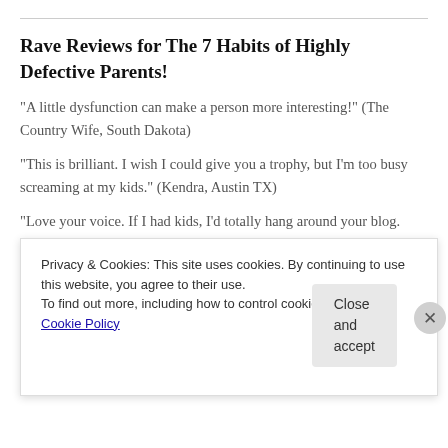Rave Reviews for The 7 Habits of Highly Defective Parents!
"A little dysfunction can make a person more interesting!" (The Country Wife, South Dakota)
"This is brilliant. I wish I could give you a trophy, but I'm too busy screaming at my kids." (Kendra, Austin TX)
"Love your voice. If I had kids, I'd totally hang around your blog. Maybe I'll be back in 5 years or so." (Kiya Krier, Kansas City KS)
"I love this. Tear drawing laughter. You are an absolute hoot." (John
Privacy & Cookies: This site uses cookies. By continuing to use this website, you agree to their use.
To find out more, including how to control cookies, see here: Cookie Policy
Close and accept